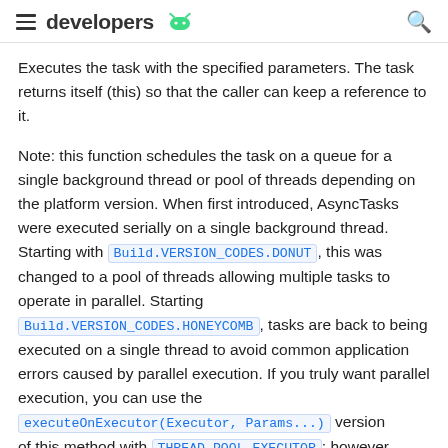developers
Executes the task with the specified parameters. The task returns itself (this) so that the caller can keep a reference to it.
Note: this function schedules the task on a queue for a single background thread or pool of threads depending on the platform version. When first introduced, AsyncTasks were executed serially on a single background thread. Starting with Build.VERSION_CODES.DONUT, this was changed to a pool of threads allowing multiple tasks to operate in parallel. Starting Build.VERSION_CODES.HONEYCOMB, tasks are back to being executed on a single thread to avoid common application errors caused by parallel execution. If you truly want parallel execution, you can use the executeOnExecutor(Executor, Params...) version of this method with THREAD_POOL_EXECUTOR; however,